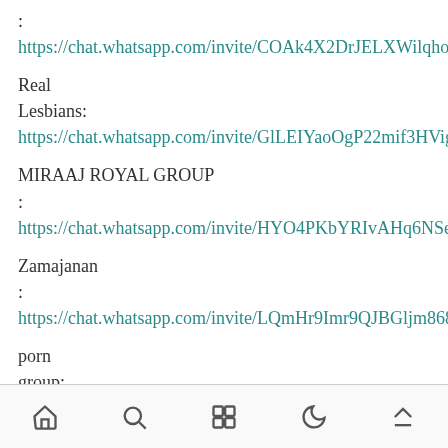: https://chat.whatsapp.com/invite/COAk4X2DrJELXWilqhoPXT
Real
Lesbians: https://chat.whatsapp.com/invite/GlLEIYaoOgP22mif3HVigE
MIRAAJ ROYAL GROUP
: https://chat.whatsapp.com/invite/HYO4PKbYRIvAHq6NSeNYBb
Zamajanan
: https://chat.whatsapp.com/invite/LQmHr9Imr9QJBGljm868CM
porn
group: https://chat.whatsapp.com/invite/DXjqVmsM9P6Lrs1B0ec3nh
ꦲꦤꦏꦸ ꦤꦢꦸꦭꦤ
[Figure (other): Mobile navigation bar with home, search, grid, moon/dark-mode, and upload/eject icons]